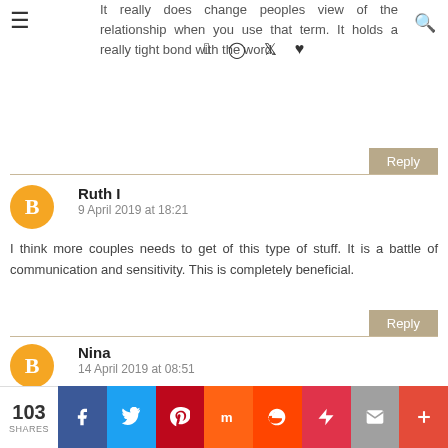It really does change peoples view of the relationship when you use that term. It holds a really tight bond with the word.
Ruth I
9 April 2019 at 18:21
I think more couples needs to get of this type of stuff. It is a battle of communication and sensitivity. This is completely beneficial.
Nina
14 April 2019 at 08:51
You are definitely right that partner is...